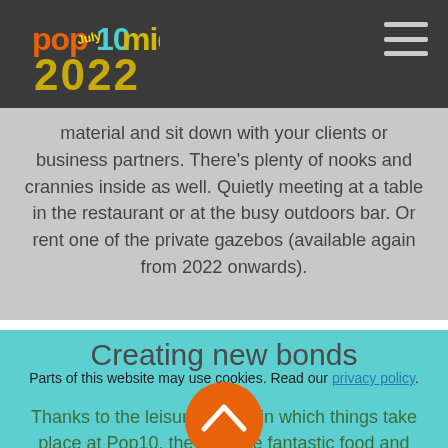pop10mid 2022 — navigation header
material and sit down with your clients or business partners. There's plenty of nooks and crannies inside as well. Quietly meeting at a table in the restaurant or at the busy outdoors bar. Or rent one of the private gazebos (available again from 2022 onwards).
Creating new bonds
Parts of this website may use cookies. Read our privacy policy.
Thanks to the leisurely pace in which things take place at Pop10, the sun, the fantastic food and drinks, the friendly locals and the